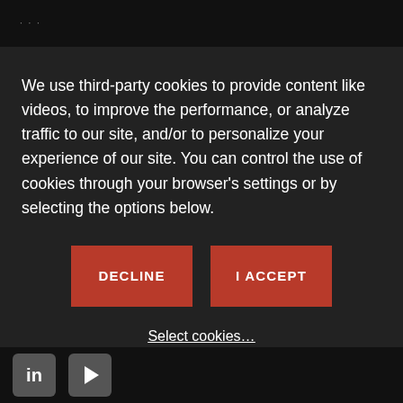...
We use third-party cookies to provide content like videos, to improve the performance, or analyze traffic to our site, and/or to personalize your experience of our site. You can control the use of cookies through your browser’s settings or by selecting the options below.
DECLINE
I ACCEPT
Select cookies...
LinkedIn icon, YouTube icon